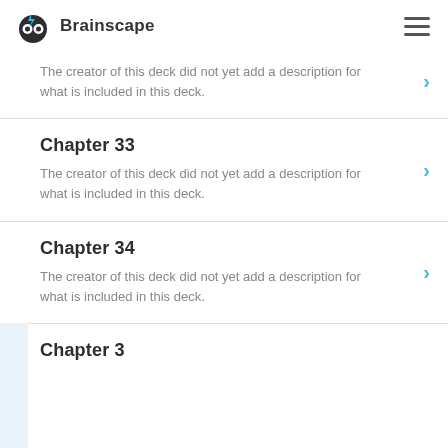Brainscape
The creator of this deck did not yet add a description for what is included in this deck.
Chapter 33
The creator of this deck did not yet add a description for what is included in this deck.
Chapter 34
The creator of this deck did not yet add a description for what is included in this deck.
Chapter 3?